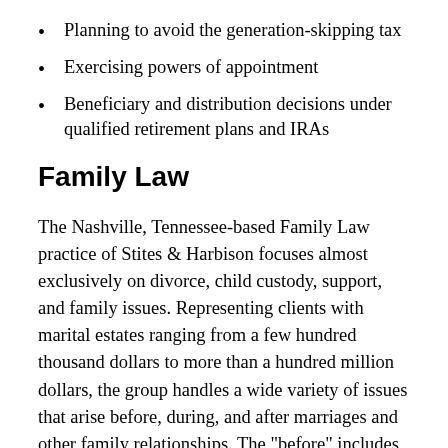Planning to avoid the generation-skipping tax
Exercising powers of appointment
Beneficiary and distribution decisions under qualified retirement plans and IRAs
Family Law
The Nashville, Tennessee-based Family Law practice of Stites & Harbison focuses almost exclusively on divorce, child custody, support, and family issues. Representing clients with marital estates ranging from a few hundred thousand dollars to more than a hundred million dollars, the group handles a wide variety of issues that arise before, during, and after marriages and other family relationships. The "before" includes the negotiation and drafting of prenuptial agreements. The "during"